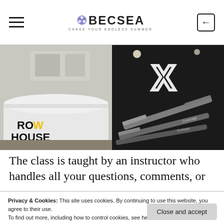BECSEA — CHASE YOUR ENDLESS SUMMER
[Figure (photo): Left: Row House gym reception desk with 'ROW HOUSE' text in black and yellow. Right: Dark gym interior with Concept2 rowing machines lined up.]
The class is taught by an instructor who handles all your questions, comments, or
Privacy & Cookies: This site uses cookies. By continuing to use this website, you agree to their use.
To find out more, including how to control cookies, see here:
Cookie Policy
Close and accept